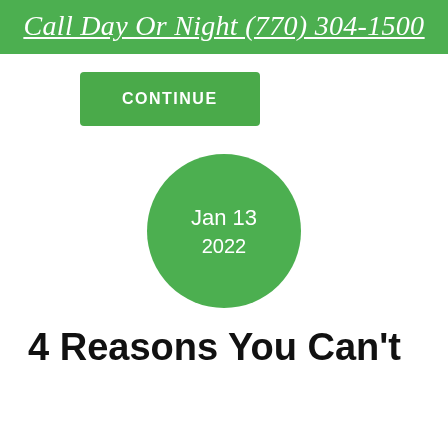Call Day Or Night (770) 304-1500
[Figure (other): Green CONTINUE button]
[Figure (other): Green circle with date Jan 13 2022]
4 Reasons You Can't Lose Weight